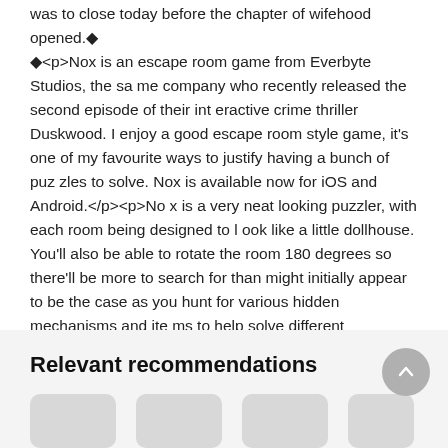was to close today before the chapter of wifehood opened.◆
◆<p>Nox is an escape room game from Everbyte Studios, the same company who recently released the second episode of their interactive crime thriller Duskwood. I enjoy a good escape room style game, it's one of my favourite ways to justify having a bunch of puzzles to solve. Nox is available now for iOS and Android.</p><p>Nox is a very neat looking puzzler, with each room being designed to look like a little dollhouse. You'll also be able to rotate the room 180 degrees so there'll be more to search for than might initially appear to be the case as you hunt for various hidden mechanisms and items to help solve different conundrums.</p>◆
&#;&#;◆
expand all
Relevant recommendations